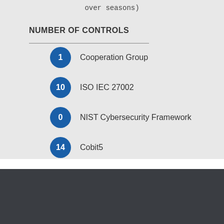over seasons)
NUMBER OF CONTROLS
1  Cooperation Group
10  ISO IEC 27002
0  NIST Cybersecurity Framework
14  Cobit5
Mappings to:
We use cookies on our website to support technical features that enhance your user experience. We also use analytics. To opt-out from analytics, click for more information.